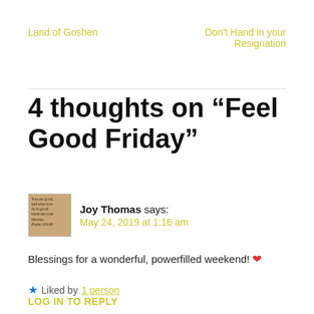Land of Goshen
Don't Hand in your Resignation
4 thoughts on “Feel Good Friday”
Joy Thomas says:
May 24, 2019 at 1:16 am
Blessings for a wonderful, powerfilled weekend! ❤
★ Liked by 1 person
LOG IN TO REPLY